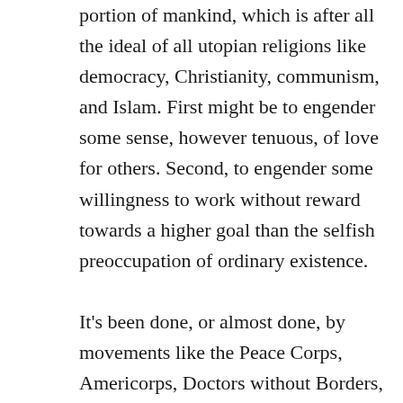portion of mankind, which is after all the ideal of all utopian religions like democracy, Christianity, communism, and Islam. First might be to engender some sense, however tenuous, of love for others. Second, to engender some willingness to work without reward towards a higher goal than the selfish preoccupation of ordinary existence.

It's been done, or almost done, by movements like the Peace Corps, Americorps, Doctors without Borders, and the like. Unfortunately, official organizations like the UN have rapidly devolved into bureaucratic structures where people work to make a living or take some advantage for themselves. So the quasi-private model seems more robust, where people work for expenses and food